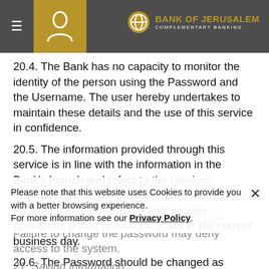Bank of Jerusalem – Complementary Banking
20.4. The Bank has no capacity to monitor the identity of the person using the Password and the Username. The user hereby undertakes to maintain these details and the use of this service in confidence.
20.5. The information provided through this service is in line with the information in the Bank's branch and refers to the previous business day, as the balances and transactions appearing in the account do not include operations and/or provisions made in the current business day.
20.6. The Password should be changed as frequently as stipulated by the Bank from time to time. Failure to change the password may deny access to the system.
21. Saving Information
21.1. The Website may include software that analyzes
Please note that this website uses Cookies to provide you with a better browsing experience. For more information see our Privacy Policy.